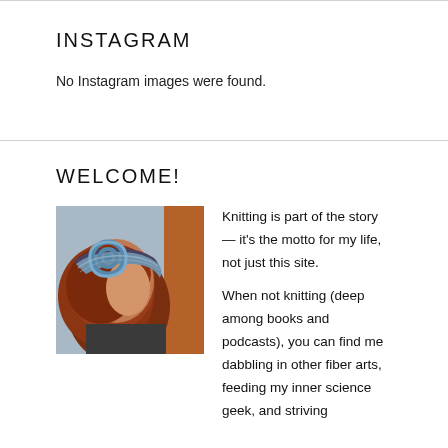INSTAGRAM
No Instagram images were found.
WELCOME!
[Figure (photo): Person wearing a knitted hat with a blue spiral decorative element, red/auburn hair, viewed from behind/side.]
Knitting is part of the story — it's the motto for my life, not just this site.

When not knitting (deep among books and podcasts), you can find me dabbling in other fiber arts, feeding my inner science geek, and striving